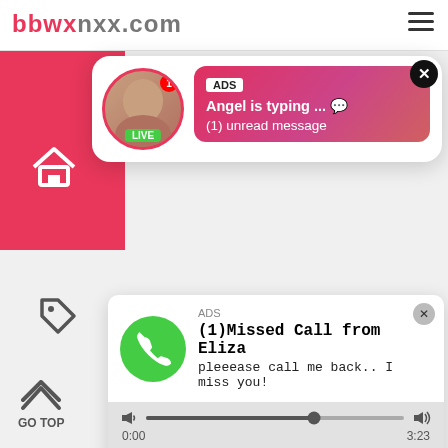bbwx.com
[Figure (screenshot): Advertisement popup: circular avatar with LIVE badge and notification count, gradient pink/red background with text 'ADS', 'Angel is typing ... 💬', '(1) unread message', close X button]
[Figure (screenshot): Advertisement audio player popup: green phone circle icon, 'ADS' label, '(1)Missed Call from Eliza', 'pleeease call me back.. I miss you!', audio progress bar, timestamps 0:00 and 3:23, rewind/play/fast-forward controls, close button]
individuals under the age of 18. This site your top-grade adult channel! Our website is a porn tube that is unmatched in diversity, quality and freshness of its content. We transmit the steaming hot xxx content as soon as the producers have baked it! Nothing can compare to the busty, luxurious porn stars and amateur girls we expose in mind-blowing, outrageous porn scenes! Hardcore porn movies in a wide variety of genres and niches, teen to mature models, HD quality, weekly update sets and more on our free porn site!
2020-2022 © bbwxnxx.com